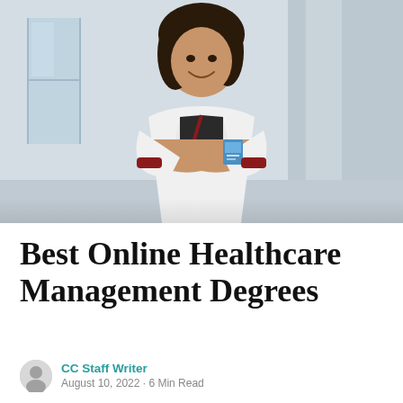[Figure (photo): A smiling woman with dark curly hair wearing a white lab coat with a lanyard and ID badge, arms crossed, standing in a bright indoor environment. Healthcare professional or doctor.]
Best Online Healthcare Management Degrees
CC Staff Writer
August 10, 2022 · 6 Min Read